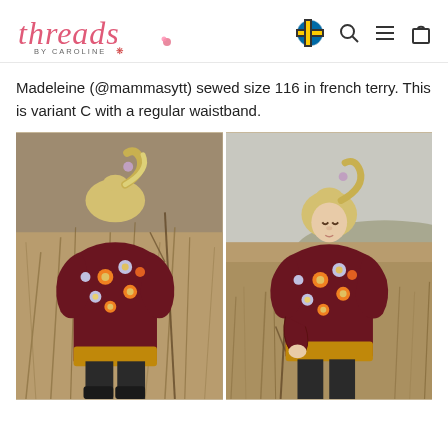[Figure (logo): Threads by Caroline logo in pink cursive script with small maple leaf icon]
Madeleine (@mammasytt) sewed size 116 in french terry. This is variant C with a regular waistband.
[Figure (photo): Two side-by-side photos of a young blonde girl wearing a dark floral sweatshirt (dark red/maroon with orange and blue flowers) with mustard yellow waistband and black pants, standing in a field of dry grass. Left photo shows her from behind, right photo shows her from the front looking down.]